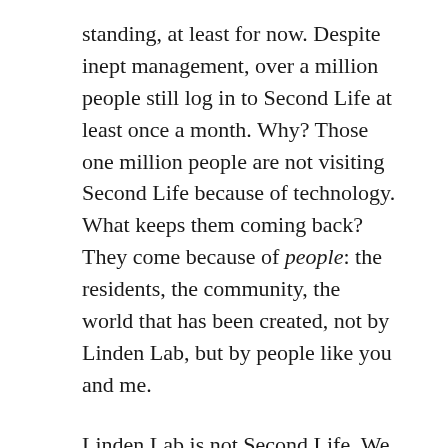standing, at least for now. Despite inept management, over a million people still log in to Second Life at least once a month. Why? Those one million people are not visiting Second Life because of technology. What keeps them coming back? They come because of people: the residents, the community, the world that has been created, not by Linden Lab, but by people like you and me.
Linden Lab is not Second Life. We are.
Second Life's 10th Birthday was, for me, a celebration of the mind-bending creativity of the residents of the virtual world (every virtual world, not only Second Life). Seeing it